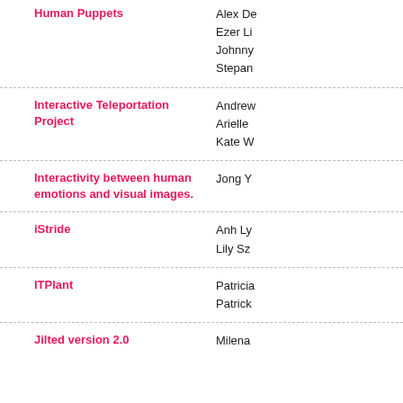Human Puppets
Alex De
Ezer Li
Johnny
Stepan
Interactive Teleportation Project
Andrew
Arielle
Kate W
Interactivity between human emotions and visual images.
Jong Y
iStride
Anh Ly
Lily Sz
ITPlant
Patricia
Patrick
Jilted version 2.0
Milena